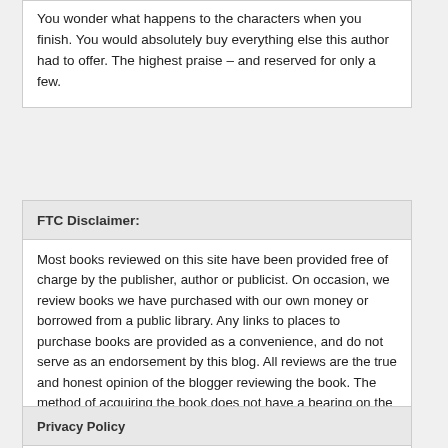You wonder what happens to the characters when you finish. You would absolutely buy everything else this author had to offer. The highest praise – and reserved for only a few.
FTC Disclaimer:
Most books reviewed on this site have been provided free of charge by the publisher, author or publicist. On occasion, we review books we have purchased with our own money or borrowed from a public library. Any links to places to purchase books are provided as a convenience, and do not serve as an endorsement by this blog. All reviews are the true and honest opinion of the blogger reviewing the book. The method of acquiring the book does not have a bearing on the content of the review.
Privacy Policy